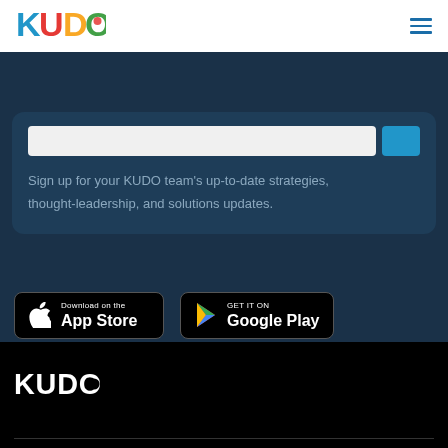[Figure (logo): KUDO colorful logo in top nav bar]
[Figure (illustration): Hamburger menu icon (three horizontal lines) in top right]
Sign up for your KUDO team's up-to-date strategies, thought-leadership, and solutions updates.
[Figure (illustration): Download on the App Store button (black rounded rectangle with Apple logo)]
[Figure (illustration): GET IT ON Google Play button (black rounded rectangle with Google Play triangle logo)]
[Figure (logo): KUDO white logo in black footer]
Global offices in New York, Geneva and San Francisco